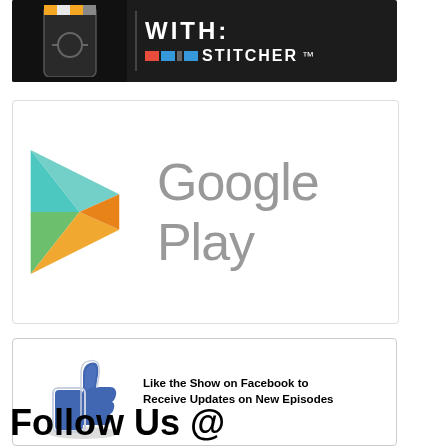[Figure (screenshot): Podcast app banner with 'WITH: STITCHER' text on dark background]
[Figure (logo): Google Play logo with colorful triangle icon and 'Google Play' text in gray]
[Figure (screenshot): Facebook banner: Like the Show on Facebook to Receive Updates on New Episodes]
984 people like this. Sign Up to see what your friends like.
Follow Us @